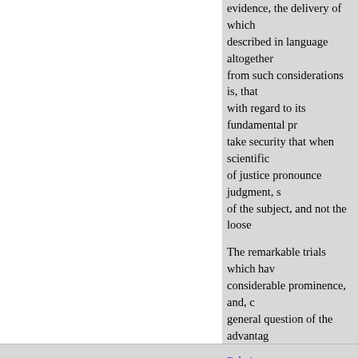evidence, the delivery of which described in language altogether from such considerations is, that with regard to its fundamental pr take security that when scientific of justice pronounce judgment, s of the subject, and not the loose
The remarkable trials which have considerable prominence, and, c general question of the advantag society, that it would be imprope confine myself to the following p
Whether it would be desirable to constitute some other tribunal, w otherwise to modify their constit
Those who maintain the affirmat That, in the place of that unlimit at present exists in criminal case material to the issue which they answers to the court, which answ upon this pro
« Eelmine